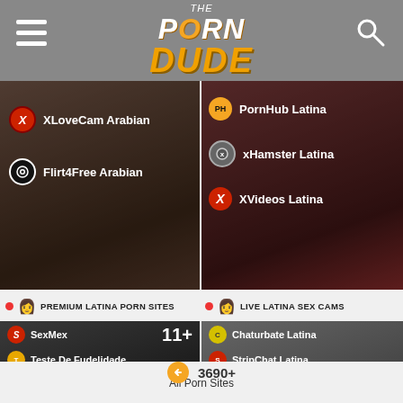THE PORN DUDE
[Figure (screenshot): Left panel showing XLoveCam Arabian and Flirt4Free Arabian site links over dark background]
[Figure (screenshot): Right panel showing PornHub Latina, xHamster Latina, and XVideos Latina site links over dark background]
PREMIUM LATINA PORN SITES
LIVE LATINA SEX CAMS
[Figure (screenshot): Left bottom panel showing 11+ badge with SexMex, Teste De Fudelidade, MamacitaZ site links]
[Figure (screenshot): Right bottom panel showing Chaturbate Latina, StripChat Latina, LiveJasmin Latina, Streamate Latina links with mascot character]
3690+
All Porn Sites